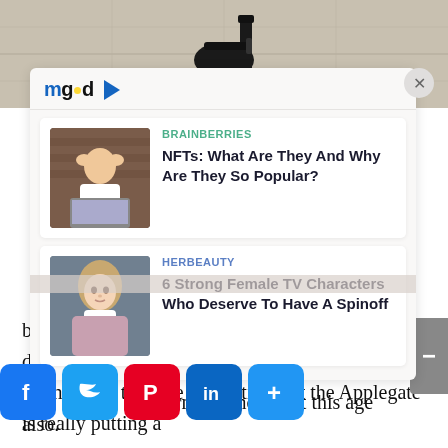[Figure (screenshot): Top portion of a webpage showing a person's leg/shoe at the top, partially cropped]
[Figure (screenshot): mgid content recommendation widget overlay with close button, containing two article cards: 1) BRAINBERRIES - NFTs: What Are They And Why Are They So Popular? with thumbnail of stressed man at computer; 2) HERBEAUTY - 6 Strong Female TV Characters Who Deserve To Have A Spinoff with thumbnail of young girl]
beautiful body. Her face glows a lot because she drinks plenty of water throughout the day. If we see her age, then we can notice that the Applegate is really putting a
charming and hot at this age also.
[Figure (infographic): Social share buttons row: Facebook (blue), Twitter (light blue), Pinterest (red), LinkedIn (dark blue), Share/Plus (blue)]